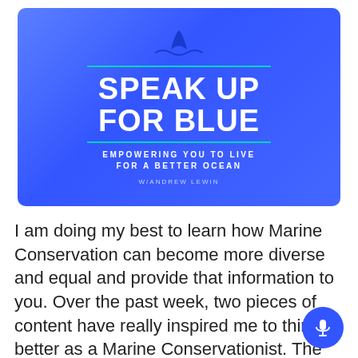[Figure (logo): Speak Up For Blue podcast banner with blue gradient background, whale tail icon, teal horizontal lines, bold white title 'SPEAK UP FOR BLUE', subtitle 'EMPOWERING YOU TO LIVE FOR A BETTER OCEAN', and author 'W/ANDREW LEWIN']
I am doing my best to learn how Marine Conservation can become more diverse and equal and provide that information to you. Over the past week, two pieces of content have really inspired me to think better as a Marine Conservationist. The first piece